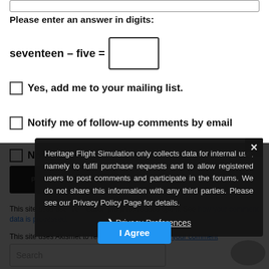Please enter an answer in digits:
seventeen – five =
Yes, add me to your mailing list.
Notify me of follow-up comments by email
Notify me of new posts by email.
POST COMMENT
This site uses user verification plugin to reduce spam. See how your comment data is processed.
This site uses Akismet to reduce spam. Learn how your comment data is processed.
Heritage Flight Simulation only collects data for internal use, namely to fulfil purchase requests and to allow registered users to post comments and participate in the forums. We do not share this information with any third parties. Please see our Privacy Policy Page for details.
❯ Privacy Preferences
I Agree
Search